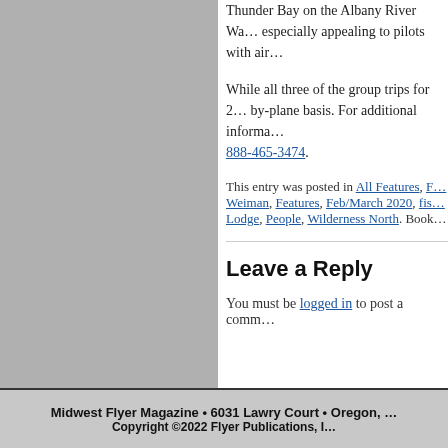Thunder Bay on the Albany River Wa… especially appealing to pilots with air…
While all three of the group trips for 2… by-plane basis. For additional informa… 888-465-3474.
This entry was posted in All Features, F… Weiman, Features, Feb/March 2020, fis… Lodge, People, Wilderness North. Book…
Leave a Reply
You must be logged in to post a comm…
Midwest Flyer Magazine • 6031 Lawry Court • Oregon, … Copyright ©2022 Flyer Publications, I…